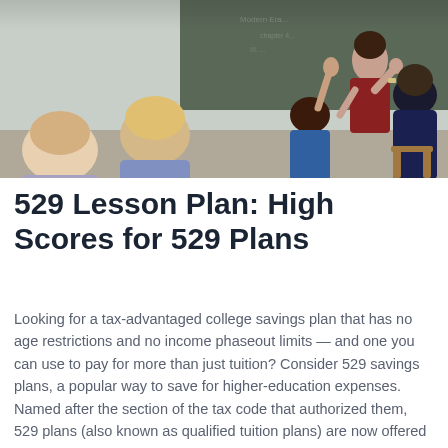[Figure (photo): Classroom scene with students seated at desks facing a female teacher standing at a blackboard. Students are raising hands and engaging with the teacher.]
529 Lesson Plan: High Scores for 529 Plans
Looking for a tax-advantaged college savings plan that has no age restrictions and no income phaseout limits — and one you can use to pay for more than just tuition? Consider 529 savings plans, a popular way to save for higher-education expenses. Named after the section of the tax code that authorized them, 529 plans (also known as qualified tuition plans) are now offered in almost every state. You